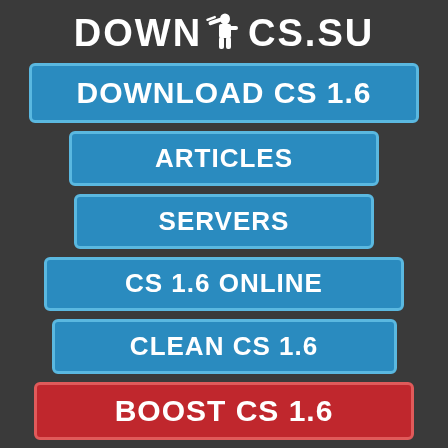[Figure (logo): DOWN-CS.SU logo with Counter-Strike soldier silhouette between DOWN and CS.SU text]
DOWNLOAD CS 1.6
ARTICLES
SERVERS
CS 1.6 ONLINE
CLEAN CS 1.6
BOOST CS 1.6